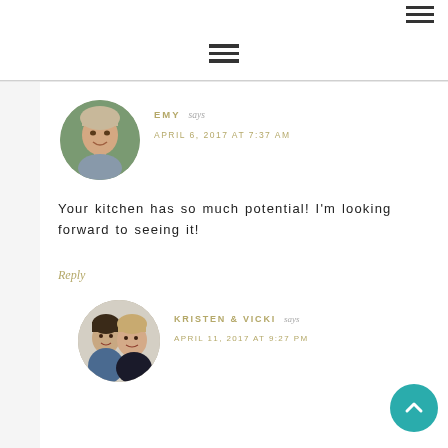[Figure (other): Hamburger menu icon top right]
[Figure (other): Hamburger menu icon centered]
[Figure (photo): Circular avatar photo of Emy, a smiling woman with light hair]
EMY says
APRIL 6, 2017 AT 7:37 AM
Your kitchen has so much potential! I'm looking forward to seeing it!
Reply
[Figure (photo): Circular avatar photo of Kristen & Vicki, two smiling women]
KRISTEN & VICKI says
APRIL 11, 2017 AT 9:27 PM